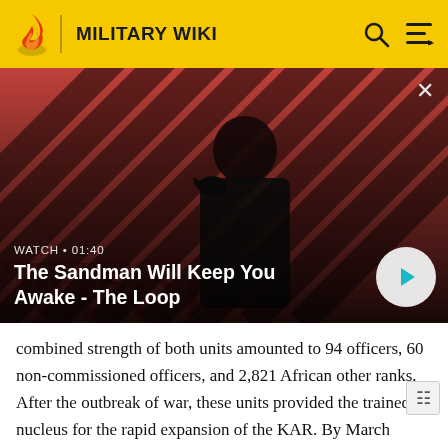MILITARY WIKI
[Figure (screenshot): Video thumbnail for 'The Sandman Will Keep You Awake - The Loop' showing a dark-cloaked figure with a raven on a red and black diagonal striped background. Overlay shows WATCH · 01:40 and a play button.]
WATCH · 01:40
The Sandman Will Keep You Awake - The Loop
combined strength of both units amounted to 94 officers, 60 non-commissioned officers, and 2,821 African other ranks. After the outbreak of war, these units provided the trained nucleus for the rapid expansion of the KAR. By March 1940, the strength of the KAR had reached 883